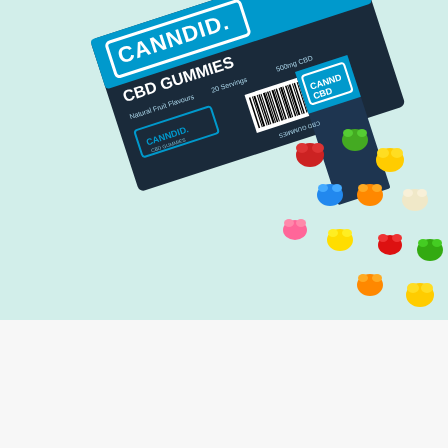[Figure (photo): CANNDID. CBD Gummies product box open with colorful gummy bears spilling out, on a light teal/mint background. Box is dark navy with blue and white branding showing 'CANNDID. CBD GUMMIES', '20 Servings', '500mg CBD', 'Natural Fruit Flavours'.]
FREE SHIPPING
Free shipping on all orders over £30